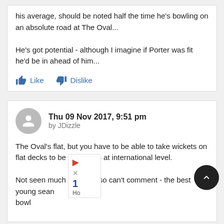his average, should be noted half the time he's bowling on an absolute road at The Oval...

He's got potential - although I imagine if Porter was fit he'd be in ahead of him...
Like   Dislike
Thu 09 Nov 2017, 9:51 pm
by JDizzle
The Oval's flat, but you have to be able to take wickets on flat decks to be a success at international level.

Not seen much of Porter so can't comment - the best young sean... bowl...